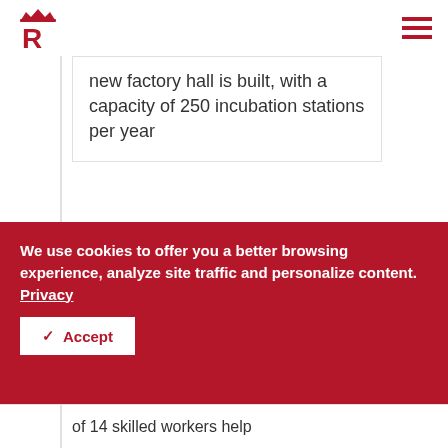Logo and navigation header
new factory hall is built, with a capacity of 250 incubation stations per year
[Figure (photo): Black and white historical photograph of a group of approximately 14 workers standing in front of a factory building, with one person crouching in front. A white plus (+) button overlay is visible in the bottom right corner.]
We use cookies to offer you a better browsing experience, analyze site traffic and personalize content.  Privacy
✓  Accept
of 14 skilled workers help